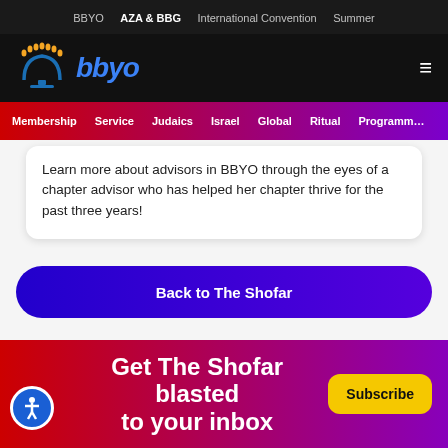BBYO  AZA & BBG  International Convention  Summer
[Figure (logo): BBYO logo with menorah icon in blue and gold, text 'bbyo' in blue italic bold]
Membership  Service  Judaics  Israel  Global  Ritual  Programming
Learn more about advisors in BBYO through the eyes of a chapter advisor who has helped her chapter thrive for the past three years!
Back to The Shofar
Get The Shofar blasted to your inbox
Subscribe